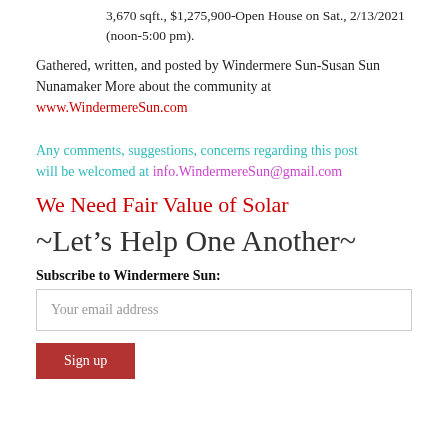3,670 sqft., $1,275,900-Open House on Sat., 2/13/2021 (noon-5:00 pm).
Gathered, written, and posted by Windermere Sun-Susan Sun Nunamaker More about the community at www.WindermereSun.com
Any comments, suggestions, concerns regarding this post will be welcomed at info.WindermereSun@gmail.com
We Need Fair Value of Solar
~Let’s Help One Another~
Subscribe to Windermere Sun:
Your email address
Sign up